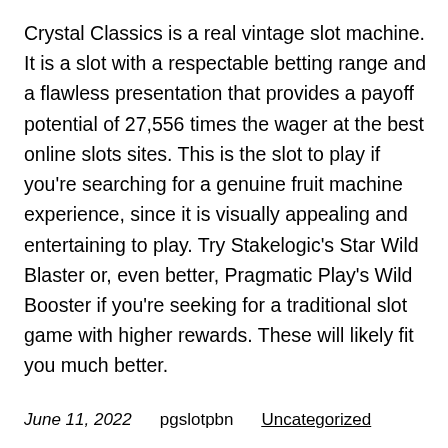Crystal Classics is a real vintage slot machine. It is a slot with a respectable betting range and a flawless presentation that provides a payoff potential of 27,556 times the wager at the best online slots sites. This is the slot to play if you're searching for a genuine fruit machine experience, since it is visually appealing and entertaining to play. Try Stakelogic's Star Wild Blaster or, even better, Pragmatic Play's Wild Booster if you're seeking for a traditional slot game with higher rewards. These will likely fit you much better.
June 11, 2022   pgslotpbn   Uncategorized